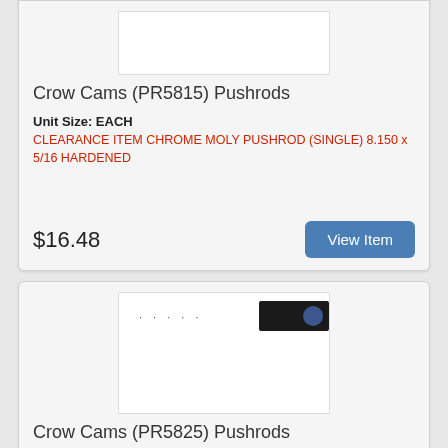[Figure (photo): Product image placeholder for Crow Cams PR5815 Pushrods, white rectangle]
Crow Cams (PR5815) Pushrods
Unit Size: EACH
CLEARANCE ITEM CHROME MOLY PUSHROD (SINGLE) 8.150 x 5/16 HARDENED
$16.48
[Figure (photo): Product image thumbnail for Crow Cams PR5825 Pushrods showing partial dark product image on white background]
Crow Cams (PR5825) Pushrods